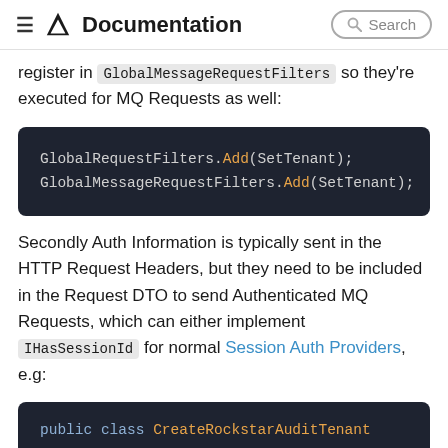≡ Documentation  Search
register in GlobalMessageRequestFilters so they're executed for MQ Requests as well:
[Figure (screenshot): Code block showing: GlobalRequestFilters.Add(SetTenant); GlobalMessageRequestFilters.Add(SetTenant);]
Secondly Auth Information is typically sent in the HTTP Request Headers, but they need to be included in the Request DTO to send Authenticated MQ Requests, which can either implement IHasSessionId for normal Session Auth Providers, e.g:
[Figure (screenshot): Code block showing: public class CreateRockstarAuditTenant : CreateAuditTenantBase<RockstarAuditTenant]